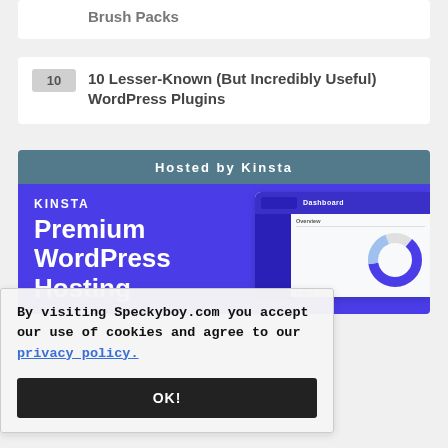Brush Packs
10 Lesser-Known (But Incredibly Useful) WordPress Plugins
[Figure (infographic): Kinsta advertisement banner with 'Hosted by Kinsta' header in steel blue, purple background with Kinsta logo, 'Premium WordPress Hosting' headline in white, and a dashboard screenshot on the right side]
By visiting Speckyboy.com you accept our use of cookies and agree to our privacy policy.
OK!